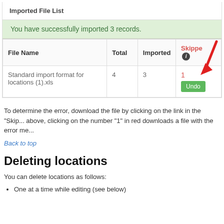Imported File List
You have successfully imported 3 records.
| File Name | Total | Imported | Skipped ⓘ |
| --- | --- | --- | --- |
| Standard import format for locations (1).xls | 4 | 3 | 1
Undo |
To determine the error, download the file by clicking on the link in the "Skip... above, clicking on the number "1" in red downloads a file with the error me...
Back to top
Deleting locations
You can delete locations as follows:
One at a time while editing (see below)